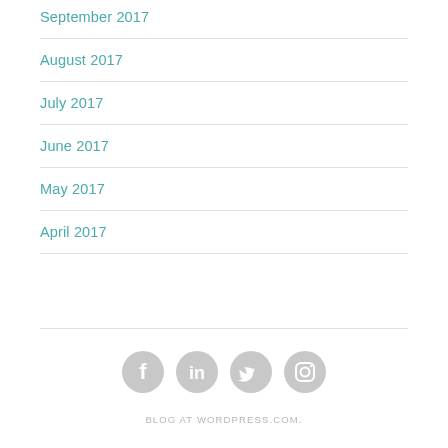September 2017
August 2017
July 2017
June 2017
May 2017
April 2017
[Figure (infographic): Four circular social media icons: Facebook, LinkedIn, Twitter, Instagram, all in gray]
BLOG AT WORDPRESS.COM.